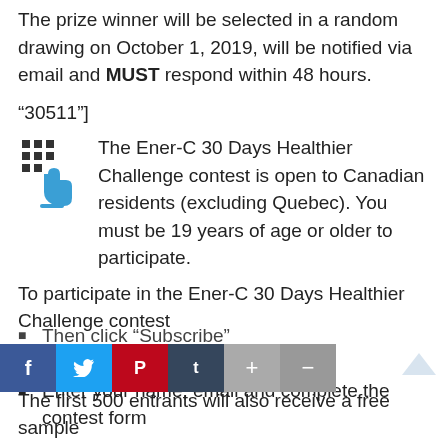The prize winner will be selected in a random drawing on October 1, 2019, will be notified via email and MUST respond within 48 hours.
“30511”]
The Ener-C 30 Days Healthier Challenge contest is open to Canadian residents (excluding Quebec). You must be 19 years of age or older to participate.
To participate in the Ener-C 30 Days Healthier Challenge contest
Go to www.30dayshealthier.com
Enter your name, email and complete the contest form
Then click “Subscribe”
The first 500 entrants will also receive a free sample